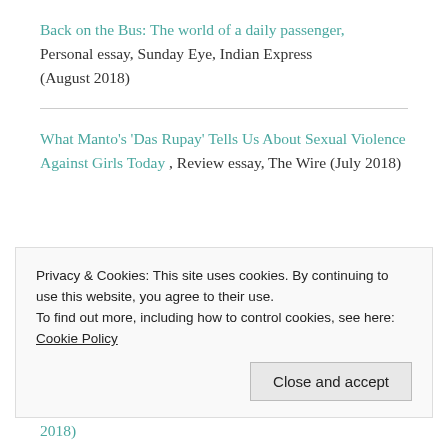Back on the Bus: The world of a daily passenger, Personal essay, Sunday Eye, Indian Express (August 2018)
What Manto's 'Das Rupay' Tells Us About Sexual Violence Against Girls Today , Review essay, The Wire (July 2018)
Privacy & Cookies: This site uses cookies. By continuing to use this website, you agree to their use. To find out more, including how to control cookies, see here: Cookie Policy
Close and accept
2018)